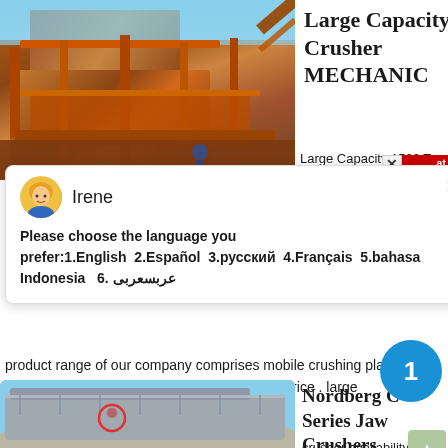[Figure (photo): Large industrial mining crusher machinery with orange/rust colored metal framework, outdoor industrial setting with blue sky]
Large Capacity Crusher MECHANIC
Large Capacity 1500 Ton Per Hour Limestone Crusher 1500 Ton Hour
Please choose the language you prefer:1.English  2.Español  3.русский  4.Français  5.bahasa Indonesia   6. عربسعربی
product range of our company comprises mobile crushing plant jaw crusher cone crusher impact crusher get price . large capacity
get price
[Figure (photo): Nordberg C Series jaw crusher machine, grey industrial crushing equipment outdoors with pink circle marking on component]
Nordberg C Series Jaw Crushers
crusher availability